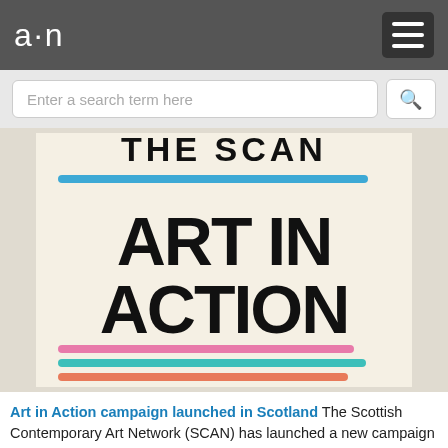a·n
[Figure (illustration): Art in Action campaign poster on cream background with large bold black text reading 'ART IN ACTION' and decorative colored horizontal lines (blue, pink, teal, coral/orange). Partially visible text at top reads 'THE SCAN'.]
Art in Action campaign launched in Scotland The Scottish Contemporary Art Network (SCAN) has launched a new campaign to highlight to MSPs the value of the